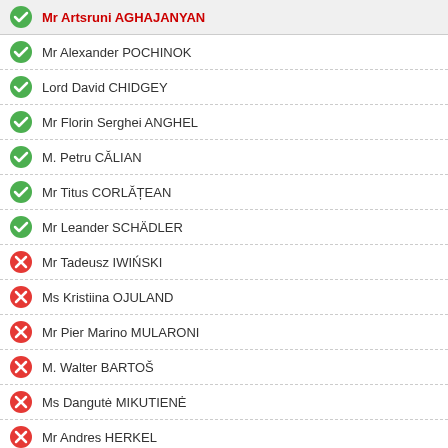Mr Artsruni AGHAJANYAN
Mr Alexander POCHINOK
Lord David CHIDGEY
Mr Florin Serghei ANGHEL
M. Petru CĂLIAN
Mr Titus CORLĂȚEAN
Mr Leander SCHÄDLER
Mr Tadeusz IWIŃSKI
Ms Kristiina OJULAND
Mr Pier Marino MULARONI
M. Walter BARTOŠ
Ms Dangutė MIKUTIENĖ
Mr Andres HERKEL
Mme Arlette GROSSKOST
Mr Tomáš JIRSA
Ms Ingrida CIRCENE
Ms Olena BONDARENKO